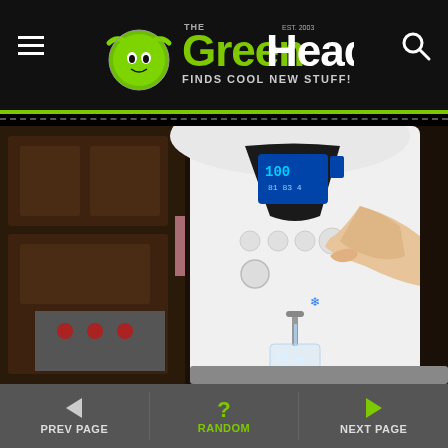The Green Head - Finds Cool New Stuff!
[Figure (photo): A person pressing a button on a white countertop water dispenser/purifier with an LCD display, dispensing water into a glass, with a kitchen background]
PREV PAGE | RANDOM | NEXT PAGE